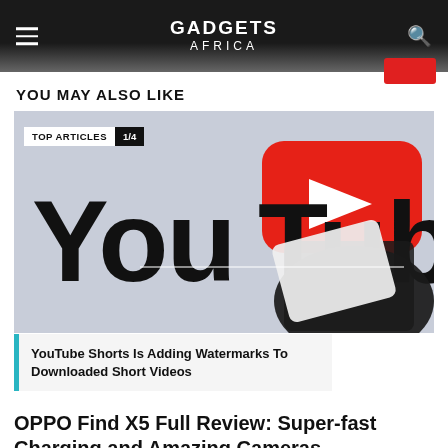GADGETS AFRICA
YOU MAY ALSO LIKE
[Figure (photo): YouTube logo with a hand holding a phone in front of it. Badge overlay reads 'TOP ARTICLES 1/4'. Caption overlay reads 'YouTube Shorts Is Adding Watermarks To Downloaded Short Videos']
OPPO Find X5 Full Review: Super-fast Charging and Amazing Cameras